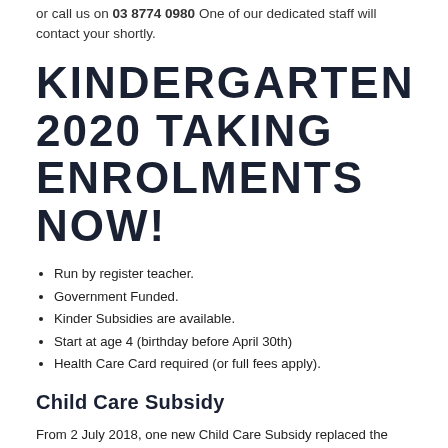or call us on 03 8774 0980 One of our dedicated staff will contact your shortly.
KINDERGARTEN 2020 TAKING ENROLMENTS NOW!
Run by register teacher.
Government Funded.
Kinder Subsidies are available.
Start at age 4 (birthday before April 30th)
Health Care Card required (or full fees apply).
Child Care Subsidy
From 2 July 2018, one new Child Care Subsidy replaced the two previous child care payments. To transition, all families need to complete an online Child Care Subsidy assessment using their Centrelink online account through MyGov. If you're thinking about starting care, you should